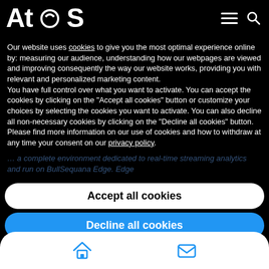Atos
Our website uses cookies to give you the most optimal experience online by: measuring our audience, understanding how our webpages are viewed and improving consequently the way our website works, providing you with relevant and personalized marketing content.
You have full control over what you want to activate. You can accept the cookies by clicking on the "Accept all cookies" button or customize your choices by selecting the cookies you want to activate. You can also decline all non-necessary cookies by clicking on the "Decline all cookies" button. Please find more information on our use of cookies and how to withdraw at any time your consent on our privacy policy.
Accept all cookies
Decline all cookies
Customize